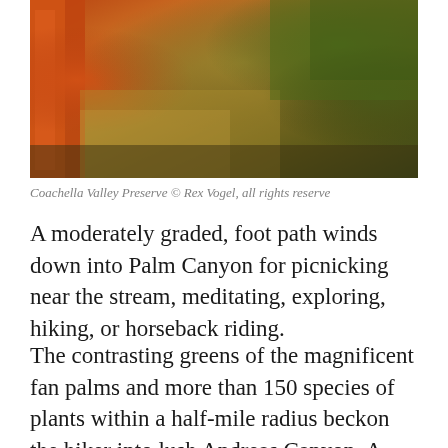[Figure (photo): Outdoor landscape photo of Coachella Valley Preserve showing orange-red tree bark or rock on the left, dry brown grasses and shrubs in the middle ground, and green desert vegetation in the background.]
Coachella Valley Preserve © Rex Vogel, all rights reserve
A moderately graded, foot path winds down into Palm Canyon for picnicking near the stream, meditating, exploring, hiking, or horseback riding.
The contrasting greens of the magnificent fan palms and more than 150 species of plants within a half-mile radius beckon the hiker into lush Andreas Canyon. A scenic foot trail leads through the canyon passing groves of stately